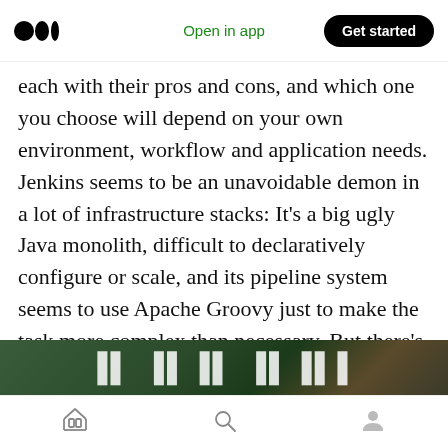Medium logo | Open in app | Get started
each with their pros and cons, and which one you choose will depend on your own environment, workflow and application needs. Jenkins seems to be an unavoidable demon in a lot of infrastructure stacks: It’s a big ugly Java monolith, difficult to declaratively configure or scale, and its pipeline system seems to use Apache Groovy just to make the task more complex than necessary. But there’s no arguing that Jenkins is also powerful, infinitely configurable and adaptable…
[Figure (photo): Partial view of a dark-toned banner or image with bold white text, partially visible at the bottom of the page]
Home | Search | Profile navigation icons